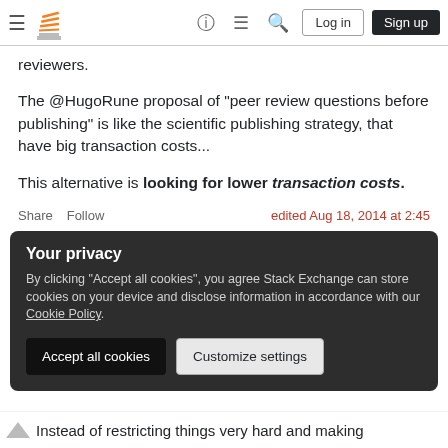Stack Exchange navigation bar with hamburger menu, logo, help, chat, search icons, Log in and Sign up buttons
reviewers.
The @HugoRune proposal of "peer review questions before publishing" is like the scientific publishing strategy, that have big transaction costs...
This alternative is looking for lower transaction costs.
Share   Follow   edited Aug 18, 2014 at 2:45
Your privacy
By clicking "Accept all cookies", you agree Stack Exchange can store cookies on your device and disclose information in accordance with our Cookie Policy.
Accept all cookies   Customize settings
Instead of restricting things very hard and making